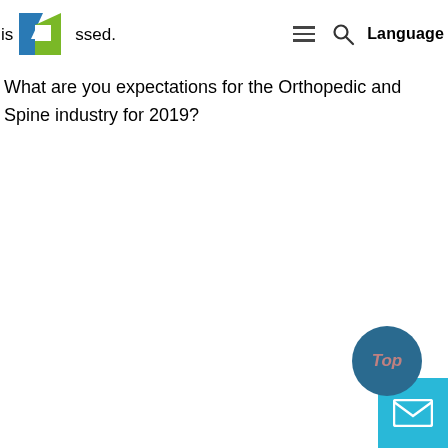is [logo] ssed.  ☰  🔍  Language
What are you expectations for the Orthopedic and Spine industry for 2019?